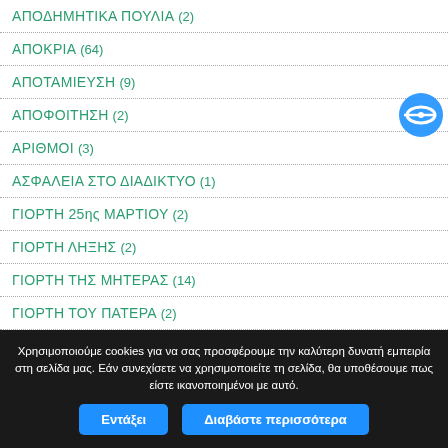ΑΠΟΔΗΜΗΤΙΚΑ ΠΟΥΛΙΑ (2)
ΑΠΟΚΡΙΑ (64)
ΑΠΟΤΑΜΙΕΥΣΗ (9)
ΑΠΟΦΟΙΤΗΣΗ (2)
ΑΡΙΘΜΟΙ (3)
ΑΣΦΑΛΕΙΑ ΣΤΟ ΔΙΑΔΙΚΤΥΟ (1)
ΓΙΟΡΤΗ 25ης ΜΑΡΤΙΟΥ (2)
ΓΙΟΡΤΗ ΛΗΞΗΣ (2)
ΓΙΟΡΤΗ ΤΗΣ ΜΗΤΕΡΑΣ (14)
ΓΙΟΡΤΗ ΤΟΥ ΠΑΤΕΡΑ (2)
Χρησιμοποιούμε cookies για να σας προσφέρουμε την καλύτερη δυνατή εμπειρία στη σελίδα μας. Εάν συνεχίσετε να χρησιμοποιείτε τη σελίδα, θα υποθέσουμε πως είστε ικανοποιημένοι με αυτό.
Εντάξει
Διαβάστε περισσότερα